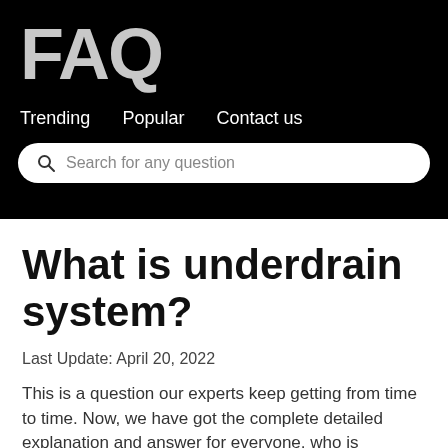FAQ
Trending   Popular   Contact us
Search for any question
What is underdrain system?
Last Update: April 20, 2022
This is a question our experts keep getting from time to time. Now, we have got the complete detailed explanation and answer for everyone, who is interested!